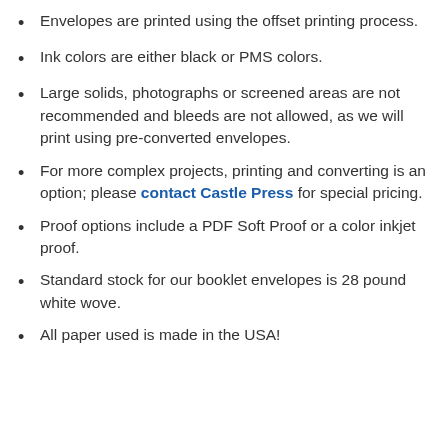Envelopes are printed using the offset printing process.
Ink colors are either black or PMS colors.
Large solids, photographs or screened areas are not recommended and bleeds are not allowed, as we will print using pre-converted envelopes.
For more complex projects, printing and converting is an option; please contact Castle Press for special pricing.
Proof options include a PDF Soft Proof or a color inkjet proof.
Standard stock for our booklet envelopes is 28 pound white wove.
All paper used is made in the USA!